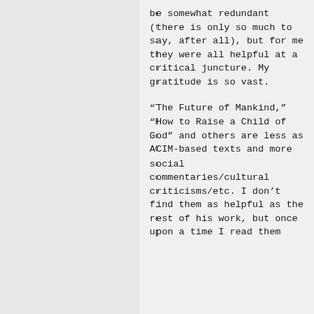be somewhat redundant (there is only so much to say, after all), but for me they were all helpful at a critical juncture. My gratitude is so vast.
“The Future of Mankind,” “How to Raise a Child of God” and others are less as ACIM-based texts and more social commentaries/cultural criticisms/etc. I don’t find them as helpful as the rest of his work, but once upon a time I read them